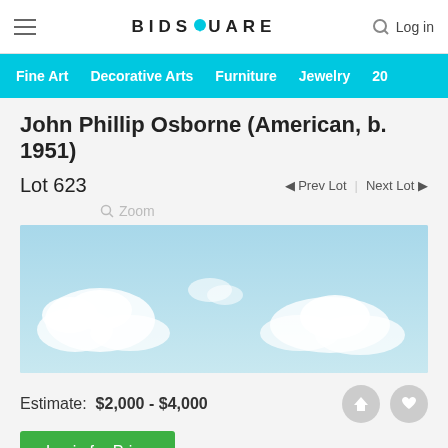BIDSQUARE — Log in
Fine Art | Decorative Arts | Furniture | Jewelry | 20
John Phillip Osborne (American, b. 1951)
Lot 623   ◄ Prev Lot  |  Next Lot ►
Zoom
[Figure (photo): Painting of sky with white clouds on light blue background]
Estimate:  $2,000 - $4,000
Login for Price
Absentee vs Live bid ?